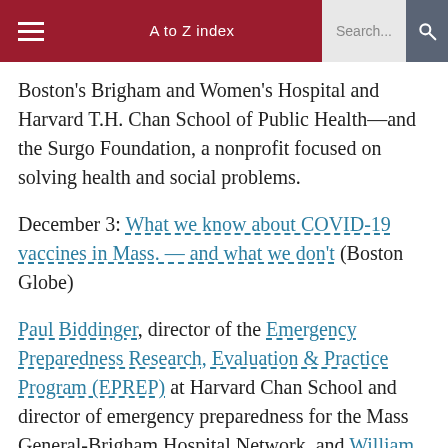≡   A to Z index   Search...   🔍
Boston's Brigham and Women's Hospital and Harvard T.H. Chan School of Public Health—and the Surgo Foundation, a nonprofit focused on solving health and social problems.
December 3: What we know about COVID-19 vaccines in Mass. — and what we don't (Boston Globe)
Paul Biddinger, director of the Emergency Preparedness Research, Evaluation & Practice Program (EPREP) at Harvard Chan School and director of emergency preparedness for the Mass General-Brigham Hospital Network, and William